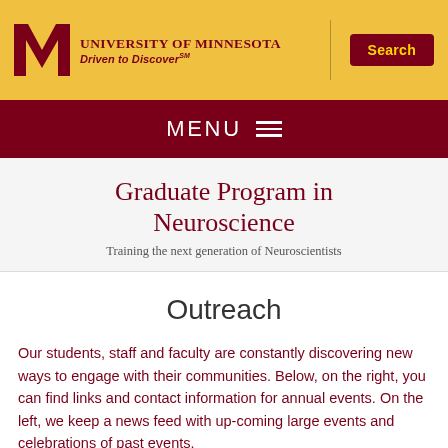[Figure (logo): University of Minnesota block M logo with 'University of Minnesota Driven to Discover' text and Search button on gold background]
MENU ☰
Graduate Program in Neuroscience
Training the next generation of Neuroscientists
Outreach
Our students, staff and faculty are constantly discovering new ways to engage with their communities. Below, on the right, you can find links and contact information for annual events. On the left, we keep a news feed with up-coming large events and celebrations of past events.